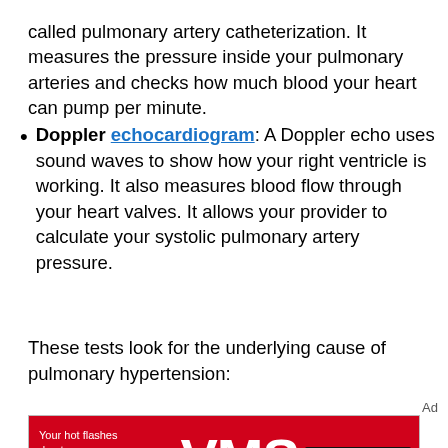called pulmonary artery catheterization. It measures the pressure inside your pulmonary arteries and checks how much blood your heart can pump per minute.
Doppler echocardiogram: A Doppler echo uses sound waves to show how your right ventricle is working. It also measures blood flow through your heart valves. It allows your provider to calculate your systolic pulmonary artery pressure.
These tests look for the underlying cause of pulmonary hypertension:
[Figure (infographic): Advertisement banner for VMS (Vasomotor Symptoms). Red background with text 'Your hot flashes due to menopause are called Vasomotor Symptoms, or' with large white bold 'VMS' text and a black box showing 'WhatsVMS.com'. Copyright line at bottom: '© 2022 Astellas Pharma US, Inc. All rights reserved. GSK-0174-PM 7/22']